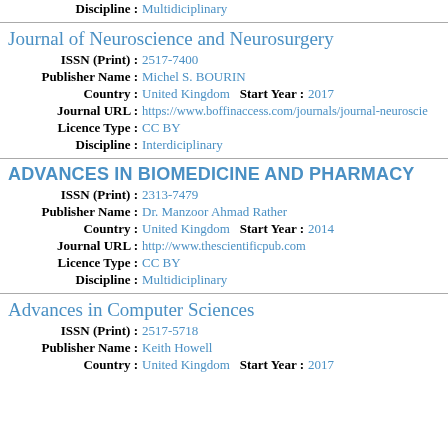Discipline : Multidiciplinary
Journal of Neuroscience and Neurosurgery
ISSN (Print) : 2517-7400
Publisher Name : Michel S. BOURIN
Country : United Kingdom   Start Year : 2017
Journal URL : https://www.boffinaccess.com/journals/journal-neuroscie...
Licence Type : CC BY
Discipline : Interdiciplinary
ADVANCES IN BIOMEDICINE AND PHARMACY
ISSN (Print) : 2313-7479
Publisher Name : Dr. Manzoor Ahmad Rather
Country : United Kingdom   Start Year : 2014
Journal URL : http://www.thescientificpub.com
Licence Type : CC BY
Discipline : Multidiciplinary
Advances in Computer Sciences
ISSN (Print) : 2517-5718
Publisher Name : Keith Howell
Country : United Kingdom   Start Year : 2017